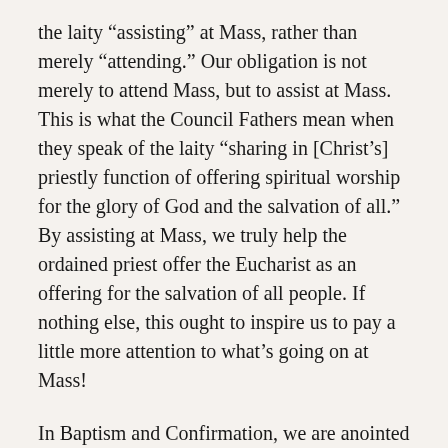the laity “assisting” at Mass, rather than merely “attending.” Our obligation is not merely to attend Mass, but to assist at Mass. This is what the Council Fathers mean when they speak of the laity “sharing in [Christ’s] priestly function of offering spiritual worship for the glory of God and the salvation of all.” By assisting at Mass, we truly help the ordained priest offer the Eucharist as an offering for the salvation of all people. If nothing else, this ought to inspire us to pay a little more attention to what’s going on at Mass!
In Baptism and Confirmation, we are anointed by the Holy Spirit to produce good works that are then offered to God for the consecration of the world. The good works we produce in our marriages and family life (the formation of the man the woman as one in Christ, the raising of children in righteousness, etc ...),